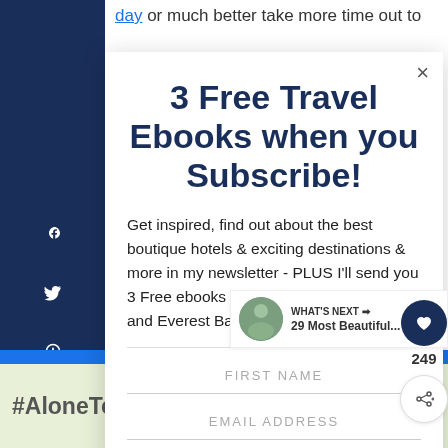day or much better take more time out to
3 Free Travel Ebooks when you Subscribe!
Get inspired, find out about the best boutique hotels & exciting destinations & more in my newsletter - PLUS I'll send you 3 Free ebooks on Colombia, Solo Travel and Everest Base Camp.
FIRST NAME
EMAIL ADDRESS
249
WHAT'S NEXT → 29 Most Beautiful...
#AloneTogether